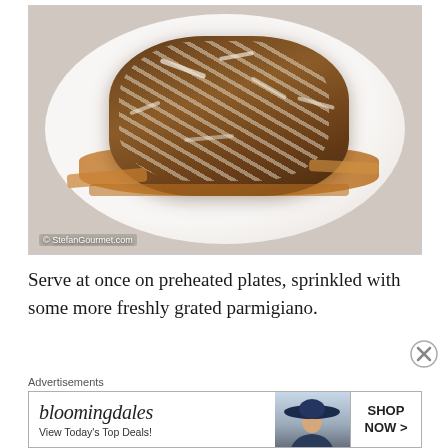[Figure (photo): A white plate with pasta topped with meat sauce (bolognese) and freshly grated parmigiano cheese, photographed on white background. Watermark reads: © StefanGourmet.com]
Serve at once on preheated plates, sprinkled with some more freshly grated parmigiano.
Advertisements
[Figure (screenshot): Bloomingdales advertisement banner: logo text 'bloomingdales' in italic serif font, tagline 'View Today's Top Deals!', image of woman in large brim hat, button 'SHOP NOW >']